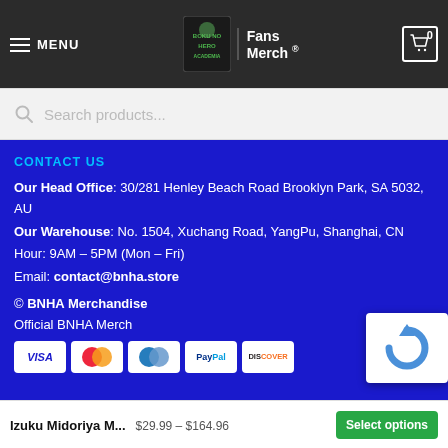MENU | Boku no Hero Academia Fans Merch | Cart 0
Search products...
CONTACT US
Our Head Office: 30/281 Henley Beach Road Brooklyn Park, SA 5032, AU
Our Warehouse: No. 1504, Xuchang Road, YangPu, Shanghai, CN
Hour: 9AM – 5PM (Mon – Fri)
Email: contact@bnha.store
© BNHA Merchandise
Official BNHA Merch
[Figure (other): Payment method icons: VISA, Mastercard, Mastercard (blue), PayPal, Discover]
[Figure (other): reCAPTCHA widget]
Izuku Midoriya M... $29.99 – $164.96 Select options